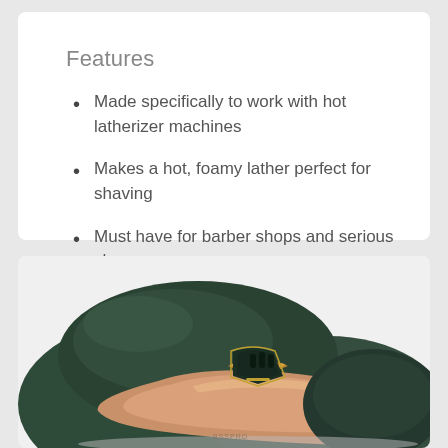Features
Made specifically to work with hot latherizer machines
Makes a hot, foamy lather perfect for shaving
Must have for barber shops and serious shavers
[Figure (photo): Close-up photo of a dark green and rose gold electric shaver/latherizer machine, viewed from above at an angle, showing the top panel with ventilation slots and gold trim accents.]